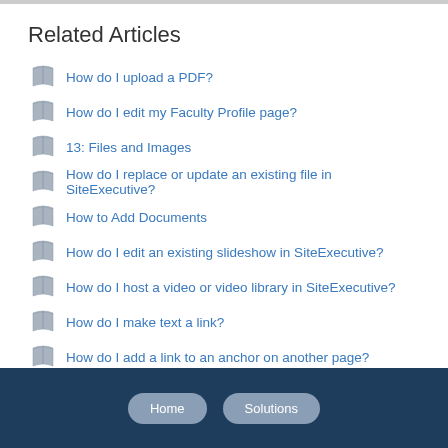Related Articles
How do I upload a PDF?
How do I edit my Faculty Profile page?
13: Files and Images
How do I replace or update an existing file in SiteExecutive?
How to Add Documents
How do I edit an existing slideshow in SiteExecutive?
How do I host a video or video library in SiteExecutive?
How do I make text a link?
How do I add a link to an anchor on another page?
How do I find analytics for my website?
Home   Solutions